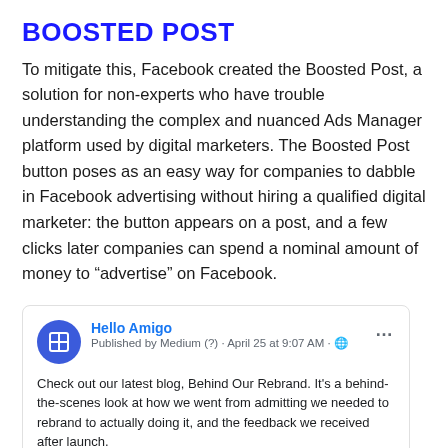BOOSTED POST
To mitigate this, Facebook created the Boosted Post, a solution for non-experts who have trouble understanding the complex and nuanced Ads Manager platform used by digital marketers. The Boosted Post button poses as an easy way for companies to dabble in Facebook advertising without hiring a qualified digital marketer: the button appears on a post, and a few clicks later companies can spend a nominal amount of money to “advertise” on Facebook.
[Figure (screenshot): A Facebook post card from 'Hello Amigo', published by Medium (?) on April 25 at 9:07 AM with a globe icon. The post text reads: 'Check out our latest blog, Behind Our Rebrand. It's a behind-the-scenes look at how we went from admitting we needed to rebrand to actually doing it, and the feedback we received after launch.' Below the text is a blue image strip partially visible.]